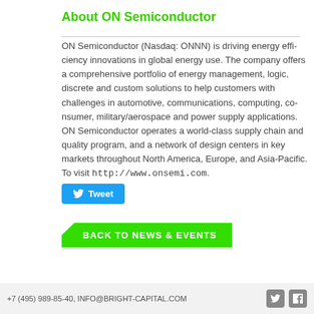About ON Semiconductor
ON Semiconductor (Nasdaq: ONNN) is driving energy efficiency innovations in global energy use. The company offers a comprehensive portfolio of energy efficient power management, logic, discrete and custom solutions to help customers efficiently solve their design challenges in automotive, communications, computing, consumer, industrial, LED lighting, medical, military/aerospace and power supply applications. ON Semiconductor operates a responsive, reliable, world class supply chain and quality program, and a network of manufacturing facilities, sales offices and design centers in key markets throughout North America, Europe, and Asia-Pacific. For more information, visit http://www.onsemi.com.
[Figure (other): Tweet button with Twitter bird icon]
[Figure (other): BACK TO NEWS & EVENTS green arrow button]
+7 (495) 989-85-40, INFO@BRIGHT-CAPITAL.COM